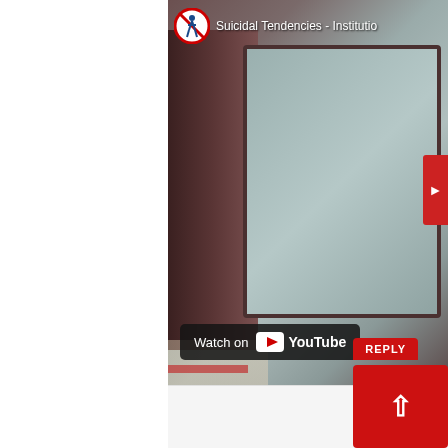[Figure (screenshot): A YouTube video thumbnail showing a blurry image of an old CRT television set in a room with curtains. The video title reads 'Suicidal Tendencies - Institutio...' with a red circle 'no walking' prohibition sign icon as the channel/video thumbnail icon. A 'Watch on YouTube' button overlay is visible at the bottom left of the video. A red arrow/next button is partially visible on the right edge.]
[Figure (screenshot): A red 'REPLY' button and a red upvote/arrow-up button, typical of a comment section interface.]